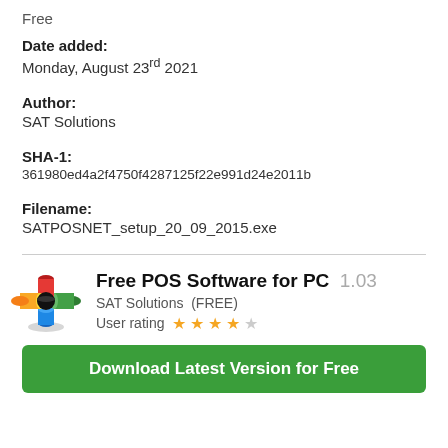Free
Date added:
Monday, August 23rd 2021
Author:
SAT Solutions
SHA-1:
361980ed4a2f4750f4287125f22e991d24e2011b
Filename:
SATPOSNET_setup_20_09_2015.exe
Free POS Software for PC  1.03
SAT Solutions  (FREE)
User rating ★★★★☆
Download Latest Version for Free